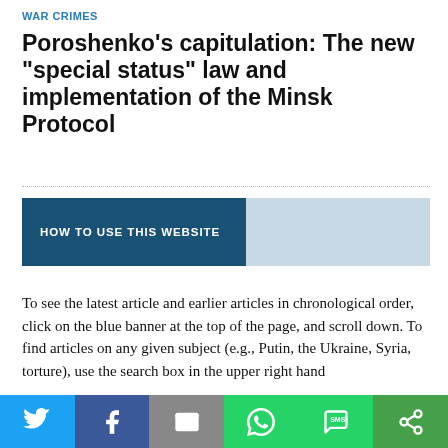WAR CRIMES
Poroshenko’s capitulation: The new “special status” law and implementation of the Minsk Protocol
[Figure (infographic): A two-part horizontal banner. Left part is dark blue with text 'HOW TO USE THIS WEBSITE'. Right part is light blue-grey.]
To see the latest article and earlier articles in chronological order, click on the blue banner at the top of the page, and scroll down. To find articles on any given subject (e.g., Putin, the Ukraine, Syria, torture), use the search box in the upper right hand
[Figure (infographic): Social media sharing bar with icons for Twitter, Facebook, Email, WhatsApp, SMS, and More (share).]